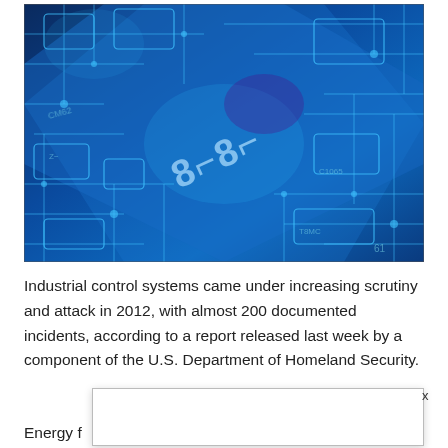[Figure (photo): Close-up photograph of a blue-lit circuit board with chip labels and circuit traces visible, including text '8⌊8⌐' and other component markings in cyan/teal on a dark blue background.]
Industrial control systems came under increasing scrutiny and attack in 2012, with almost 200 documented incidents, according to a report released last week by a component of the U.S. Department of Homeland Security.
Energy f     he 198